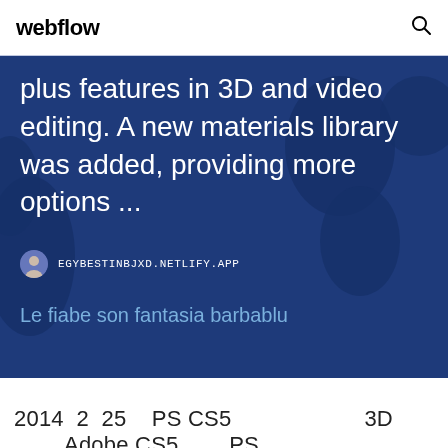webflow
[Figure (screenshot): Dark blue world map background with white body text reading: '...plus features in 3D and video editing. A new materials library was added, providing more options ...' with a user avatar icon, URL EGYBESTINBJXD.NETLIFY.APP, and subtitle text 'Le fiabe son fantasia barbablu']
2014  2  25   PS CS5                      3D
        Adobe CS5        PS
                   Baixar: Photoshop CS5